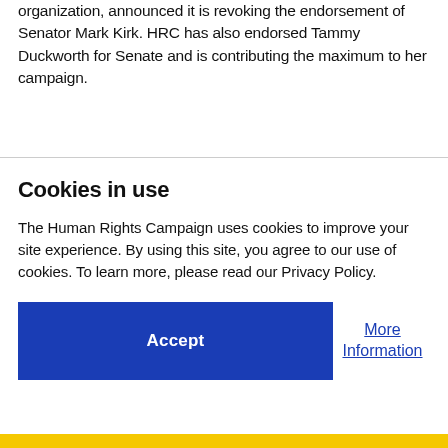organization, announced it is revoking the endorsement of Senator Mark Kirk. HRC has also endorsed Tammy Duckworth for Senate and is contributing the maximum to her campaign.
Cookies in use
The Human Rights Campaign uses cookies to improve your site experience. By using this site, you agree to our use of cookies. To learn more, please read our Privacy Policy.
Accept
More Information